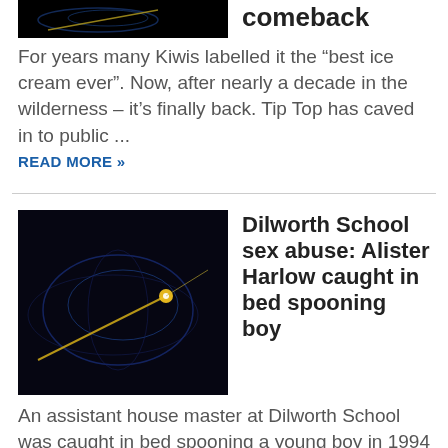[Figure (photo): Dark background with blue light trails - top article thumbnail (partially cropped at top)]
comeback
For years many Kiwis labelled it the “best ice cream ever”. Now, after nearly a decade in the wilderness – it’s finally back. Tip Top has caved in to public ...
READ MORE »
[Figure (photo): Dark background with blue light trails and a bright yellow/gold comet or orbit simulation]
Dilworth School sex abuse: Alister Harlow caught in bed spooning boy
An assistant house master at Dilworth School was caught in bed spooning a young boy in 1994 and was told to leave the dormitory, court documents reveal. It’s one incident ... READ MORE »
[Figure (photo): Dark background with blue light trails and yellow point - third article thumbnail (partially cropped at bottom)]
Controversial businessman Troy